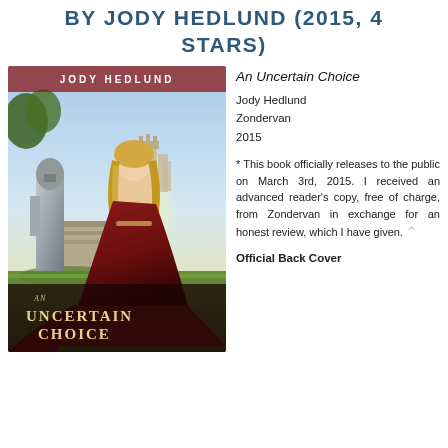BY JODY HEDLUND (2015, 4 STARS)
[Figure (illustration): Book cover of 'An Uncertain Choice' by Jody Hedlund, showing a young woman in a red medieval gown and a knight in armor standing in front of a castle landscape, with the book title at the bottom.]
An Uncertain Choice
Jody Hedlund
Zondervan
2015
* This book officially releases to the public on March 3rd, 2015. I received an advanced reader's copy, free of charge, from Zondervan in exchange for an honest review, which I have given.
Official Back Cover